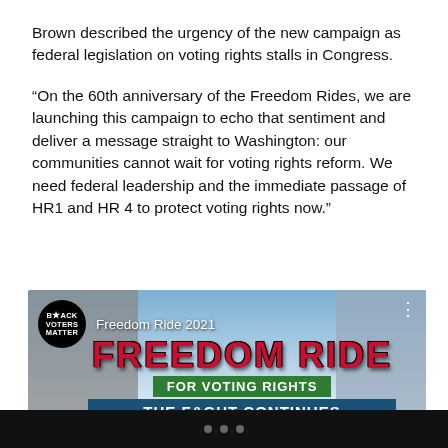Brown described the urgency of the new campaign as federal legislation on voting rights stalls in Congress.
“On the 60th anniversary of the Freedom Rides, we are launching this campaign to echo that sentiment and deliver a message straight to Washington: our communities cannot wait for voting rights reform. We need federal leadership and the immediate passage of HR1 and HR 4 to protect voting rights now.”
[Figure (screenshot): YouTube video thumbnail for 'Freedom Ride 2021' by Black Voters Matter. Shows a city with buildings, sky background, red 'FREEDOM RIDE' text, green banner 'FOR VOTING RIGHTS', blue banner 'THE FIGHT CONTINUES', and a YouTube play button.]